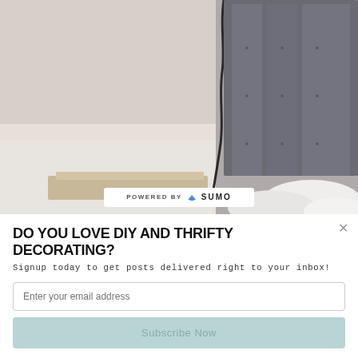[Figure (photo): Bedroom scene showing a wooden nightstand with a black charging cable hanging down the wall, and a grey upholstered headboard with white bedding visible on the right side.]
POWERED BY SUMO
DO YOU LOVE DIY AND THRIFTY DECORATING?
Signup today to get posts delivered right to your inbox!
Enter your email address
Subscribe Now